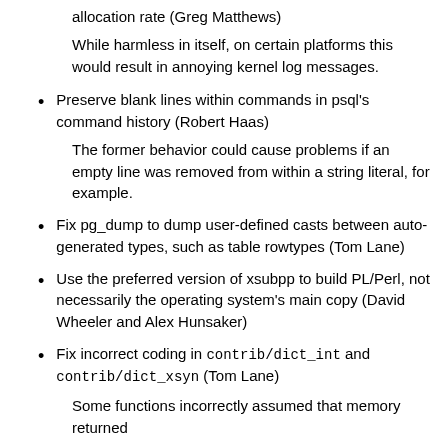Avoid floating point underflow while tracking buffer allocation rate (Greg Matthews)
While harmless in itself, on certain platforms this would result in annoying kernel log messages.
Preserve blank lines within commands in psql's command history (Robert Haas)
The former behavior could cause problems if an empty line was removed from within a string literal, for example.
Fix pg_dump to dump user-defined casts between auto-generated types, such as table rowtypes (Tom Lane)
Use the preferred version of xsubpp to build PL/Perl, not necessarily the operating system's main copy (David Wheeler and Alex Hunsaker)
Fix incorrect coding in contrib/dict_int and contrib/dict_xsyn (Tom Lane)
Some functions incorrectly assumed that memory returned